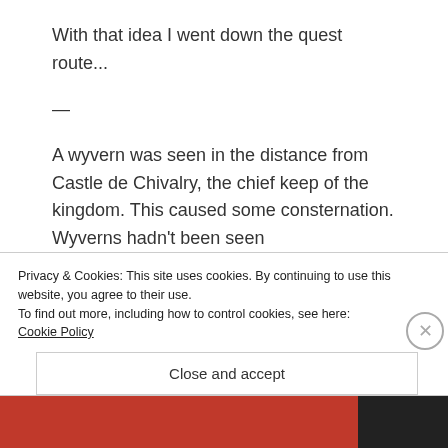With that idea I went down the quest route...
—
A wyvern was seen in the distance from Castle de Chivalry, the chief keep of the kingdom. This caused some consternation. Wyverns hadn't been seen
Privacy & Cookies: This site uses cookies. By continuing to use this website, you agree to their use.
To find out more, including how to control cookies, see here:
Cookie Policy
Close and accept